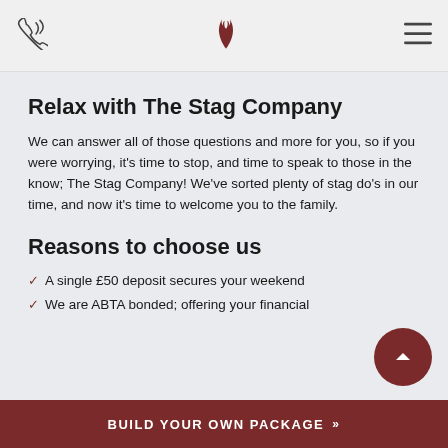Navigation bar with phone icon, antler logo, and hamburger menu
Relax with The Stag Company
We can answer all of those questions and more for you, so if you were worrying, it's time to stop, and time to speak to those in the know; The Stag Company! We've sorted plenty of stag do's in our time, and now it's time to welcome you to the family.
Reasons to choose us
A single £50 deposit secures your weekend
We are ABTA bonded; offering your financial
BUILD YOUR OWN PACKAGE »